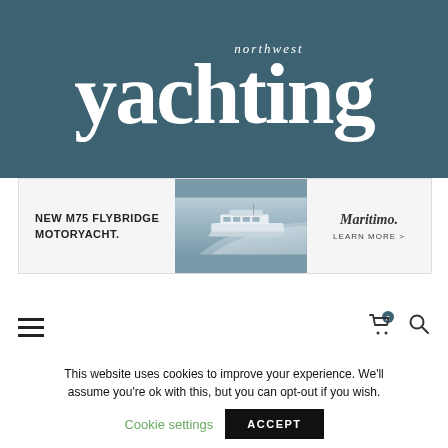northwest yachting
[Figure (screenshot): Advertisement banner for Maritimo M75 Flybridge Motoryacht with image of yacht at sea]
≡  🛒 0  🔍
Home > Community > Classic Boatyard on the Move
This website uses cookies to improve your experience. We'll assume you're ok with this, but you can opt-out if you wish. Cookie settings  ACCEPT